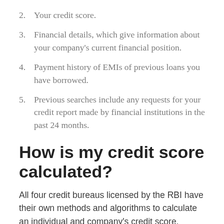2. Your credit score.
3. Financial details, which give information about your company's current financial position.
4. Payment history of EMIs of previous loans you have borrowed.
5. Previous searches include any requests for your credit report made by financial institutions in the past 24 months.
How is my credit score calculated?
All four credit bureaus licensed by the RBI have their own methods and algorithms to calculate an individual and company's credit score.